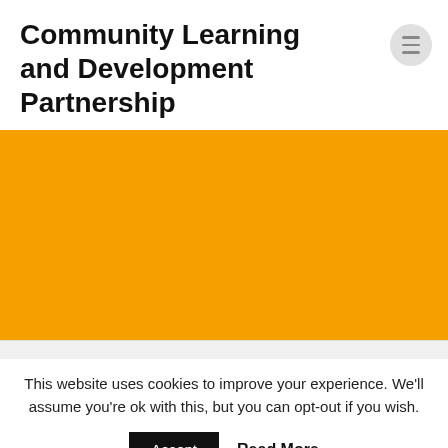Community Learning and Development Partnership
[Figure (other): Large orange/amber rectangular block used as a hero image placeholder on the website]
This website uses cookies to improve your experience. We'll assume you're ok with this, but you can opt-out if you wish.
Accept   Read More